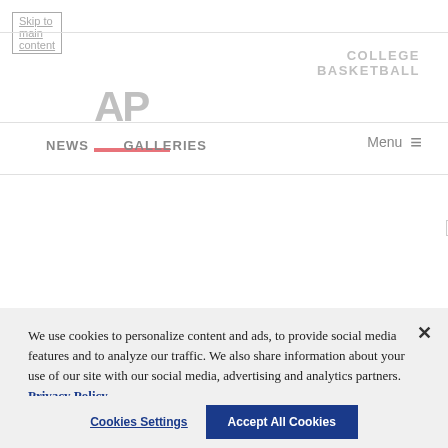Skip to main content
[Figure (logo): AP (Associated Press) logo in gray with red underline]
COLLEGE BASKETBALL
NEWS   GALLERIES   Menu ≡
[Figure (screenshot): AP News on the go advertisement banner with silhouetted crowd background, AP logo, and DOWNLOAD button]
We use cookies to personalize content and ads, to provide social media features and to analyze our traffic. We also share information about your use of our site with our social media, advertising and analytics partners. Privacy Policy
Cookies Settings   Accept All Cookies